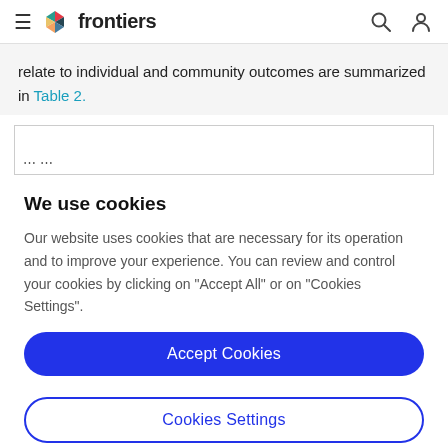frontiers
relate to individual and community outcomes are summarized in Table 2.
We use cookies
Our website uses cookies that are necessary for its operation and to improve your experience. You can review and control your cookies by clicking on "Accept All" or on "Cookies Settings".
Accept Cookies
Cookies Settings